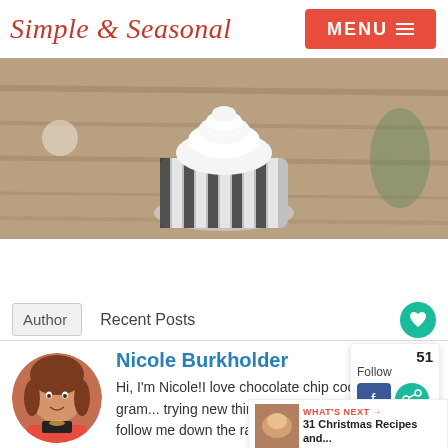Simple & Seasonal  MENU ≡
[Figure (photo): Close-up photo of a cupcake in a black and white striped cupcake liner on a wooden surface]
Author   Recent Posts
Nicole Burkholder
Hi, I'm Nicole!I love chocolate chip cookies, good gram... trying new things. Pinterest is my... Come follow me down the rabbit hole!
Follow
51
31 Christmas Recipes and...
WHAT'S NEXT →